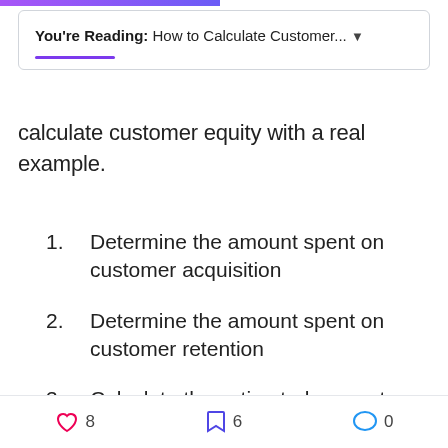You're Reading: How to Calculate Customer...
calculate customer equity with a real example.
1. Determine the amount spent on customer acquisition
2. Determine the amount spent on customer retention
3. Calculate the estimated amount a customer spends over a year
8  6  0